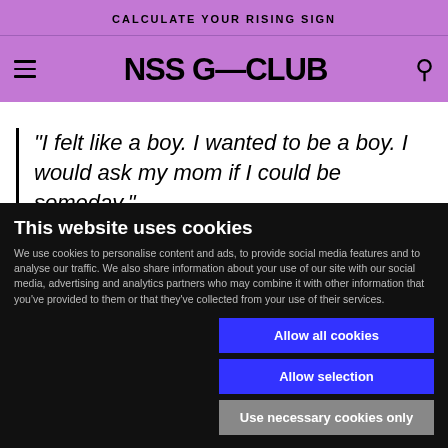CALCULATE YOUR RISING SIGN
NSS G—CLUB
"I felt like a boy. I wanted to be a boy. I would ask my mom if I could be someday."
This website uses cookies
We use cookies to personalise content and ads, to provide social media features and to analyse our traffic. We also share information about your use of our site with our social media, advertising and analytics partners who may combine it with other information that you've provided to them or that they've collected from your use of their services.
Allow all cookies
Allow selection
Use necessary cookies only